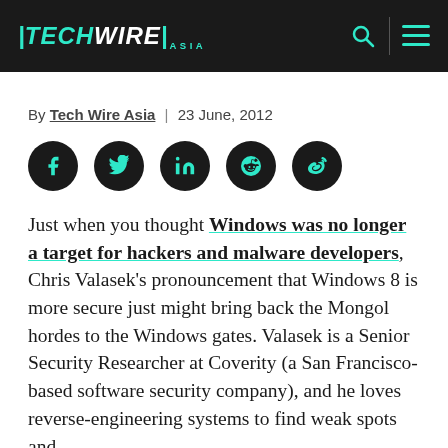TECHWIRE ASIA
By Tech Wire Asia | 23 June, 2012
[Figure (other): Social media sharing icons: Facebook, Twitter, LinkedIn, Reddit, Weibo]
Just when you thought Windows was no longer a target for hackers and malware developers, Chris Valasek's pronouncement that Windows 8 is more secure just might bring back the Mongol hordes to the Windows gates. Valasek is a Senior Security Researcher at Coverity (a San Francisco-based software security company), and he loves reverse-engineering systems to find weak spots and vulnerabilities. With Windows 8, he has noted that